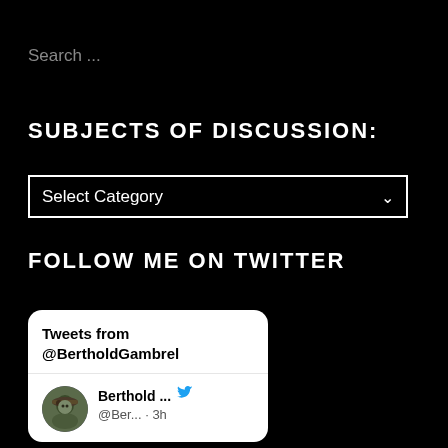Search ...
SUBJECTS OF DISCUSSION:
Select Category
FOLLOW ME ON TWITTER
[Figure (screenshot): Twitter widget showing tweets from @BertholdGambrel with a tweet item showing Berthold ... @Ber... · 3h]